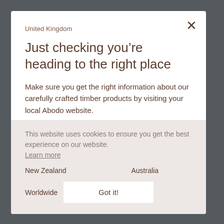United Kingdom
Just checking you’re heading to the right place
Make sure you get the right information about our carefully crafted timber products by visiting your local Abodo website.
This website uses cookies to ensure you get the best experience on our website.
Learn more
New Zealand
Australia
Worldwide
Got it!